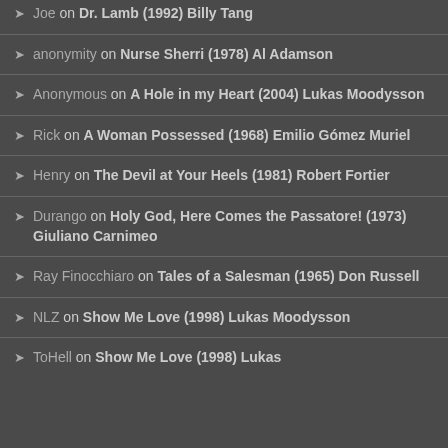Joe on Dr. Lamb (1992) Billy Tang
anonymity on Nurse Sherri (1978) Al Adamson
Anonymous on A Hole in my Heart (2004) Lukas Moodysson
Rick on A Woman Possessed (1968) Emilio Gómez Muriel
Henry on The Devil at Your Heels (1981) Robert Fortier
Durango on Holy God, Here Comes the Passatore! (1973) Giuliano Carnimeo
Ray Finocchiaro on Tales of a Salesman (1965) Don Russell
NLZ on Show Me Love (1998) Lukas Moodysson
ToHell on Show Me Love (1998) Lukas